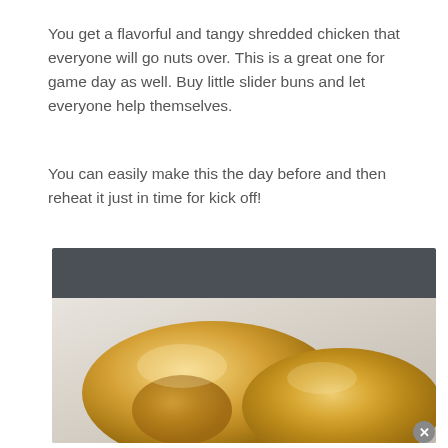You get a flavorful and tangy shredded chicken that everyone will go nuts over. This is a great one for game day as well. Buy little slider buns and let everyone help themselves.
You can easily make this the day before and then reheat it just in time for kick off!
[Figure (photo): Photo of golden-brown slider buns on a white marble surface with a dark gray background. Close-up shot showing the glossy, rounded tops of the buns.]